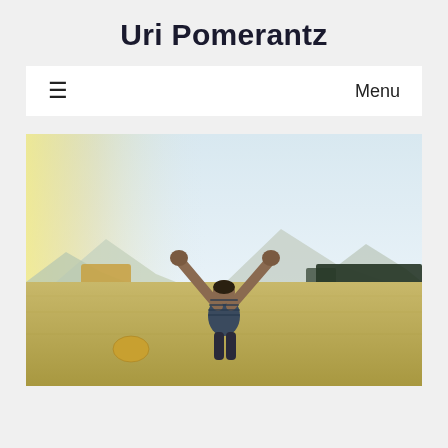Uri Pomerantz
≡  Menu
[Figure (photo): A person standing in an open field with arms raised in triumph, viewed from behind. Mountains and trees visible in the background, hay bales in the field, bright sky above.]